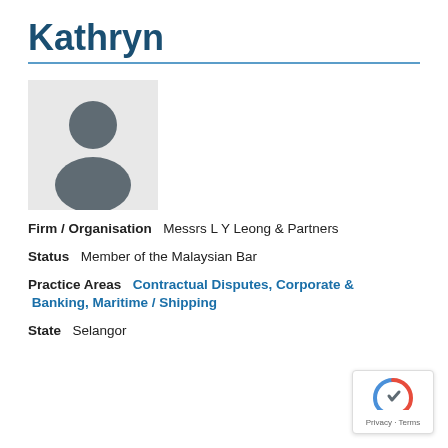Kathryn
[Figure (illustration): Generic placeholder person silhouette icon — grey figure with circular head and torso shape on light grey background]
Firm / Organisation   Messrs L Y Leong & Partners
Status   Member of the Malaysian Bar
Practice Areas   Contractual Disputes, Corporate & Banking, Maritime / Shipping
State   Selangor